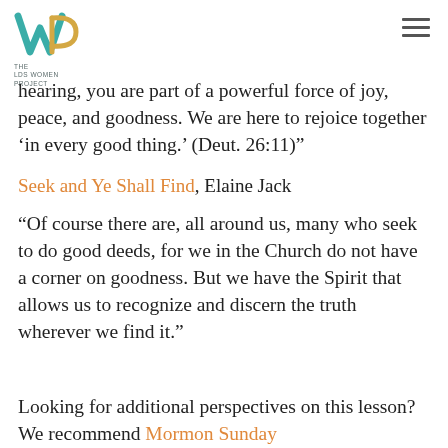[Figure (logo): The LDS Women Project logo: teal W with gold P, and text 'THE LDS WOMEN PROJECT' below]
hearing, you are part of a powerful force of joy, peace, and goodness. We are here to rejoice together ‘in every good thing.’ (Deut. 26:11)”
Seek and Ye Shall Find, Elaine Jack
“Of course there are, all around us, many who seek to do good deeds, for we in the Church do not have a corner on goodness. But we have the Spirit that allows us to recognize and discern the truth wherever we find it.”
Looking for additional perspectives on this lesson? We recommend Mormon Sunday